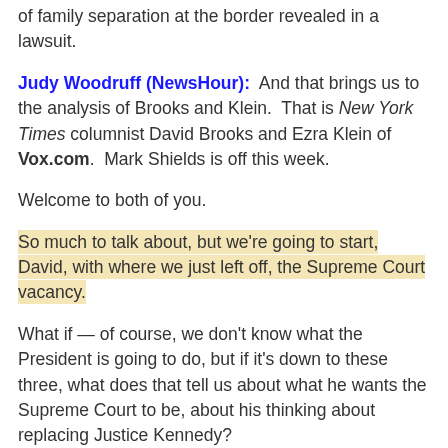of family separation at the border revealed in a lawsuit.
Judy Woodruff (NewsHour): And that brings us to the analysis of Brooks and Klein. That is New York Times columnist David Brooks and Ezra Klein of Vox.com. Mark Shields is off this week.
Welcome to both of you.
So much to talk about, but we're going to start, David, with where we just left off, the Supreme Court vacancy.
What if — of course, we don't know what the President is going to do, but if it's down to these three, what does that tell us about what he wants the Supreme Court to be, about his thinking about replacing Justice Kennedy?
David Brooks, New York Times: Well, it's like we got our old Republican Party back, because